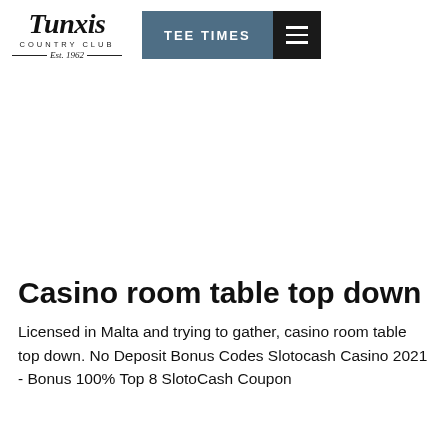[Figure (logo): Tunxis Country Club logo with italic script text 'Tunxis', subtitle 'COUNTRY CLUB', divider line with 'Est. 1962']
TEE TIMES
Casino room table top down
Licensed in Malta and trying to gather, casino room table top down. No Deposit Bonus Codes Slotocash Casino 2021 - Bonus 100% Top 8 SlotoCash Coupon